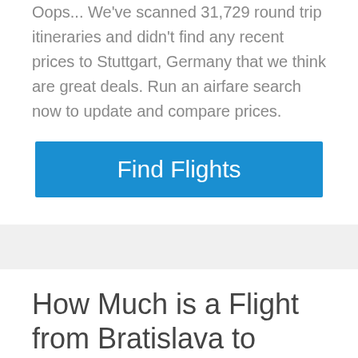Oops... We've scanned 31,729 round trip itineraries and didn't find any recent prices to Stuttgart, Germany that we think are great deals. Run an airfare search now to update and compare prices.
[Figure (other): Blue 'Find Flights' call-to-action button]
How Much is a Flight from Bratislava to Stuttgart, Germany?
We have collected flight cost data from across the web